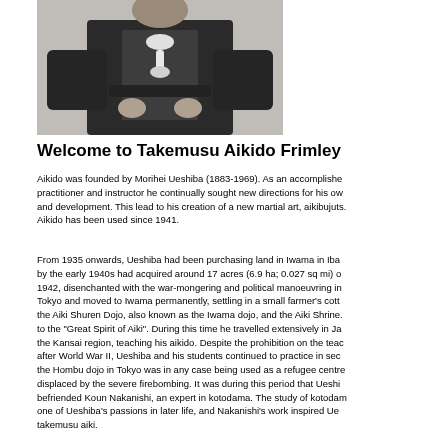[Figure (photo): Black and white photograph of Morihei Ueshiba in traditional Japanese martial arts attire, seated, with hands resting in lap.]
Welcome to Takemusu Aikido Frimley
Aikido was founded by Morihei Ueshiba (1883-1969). As an accomplished practitioner and instructor he continually sought new directions for his own and development. This lead to his creation of a new martial art, aikibujuts. Aikido has been used since 1941.
From 1935 onwards, Ueshiba had been purchasing land in Iwama in Ibar by the early 1940s had acquired around 17 acres (6.9 ha; 0.027 sq mi) o 1942, disenchanted with the war-mongering and political manoeuvring in Tokyo and moved to Iwama permanently, settling in a small farmer's cotta the Aiki Shuren Dojo, also known as the Iwama dojo, and the Aiki Shrine. to the "Great Spirit of Aiki". During this time he travelled extensively in Ja the Kansai region, teaching his aikido. Despite the prohibition on the teac after World War II, Ueshiba and his students continued to practice in secr the Hombu dojo in Tokyo was in any case being used as a refugee centre displaced by the severe firebombing. It was during this period that Ueshibi befriended Koun Nakanishi, an expert in kotodama. The study of kotodama one of Ueshiba's passions in later life, and Nakanishi's work inspired Ues takemusu aiki.